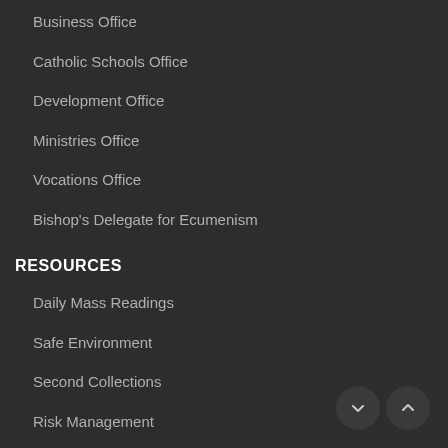Business Office
Catholic Schools Office
Development Office
Ministries Office
Vocations Office
Bishop's Delegate for Ecumenism
RESOURCES
Daily Mass Readings
Safe Environment
Second Collections
Risk Management
Purchasing